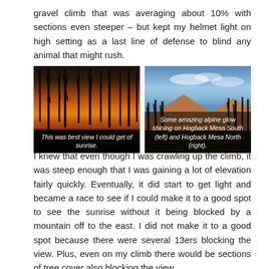gravel climb that was averaging about 10% with sections even steeper – but kept my helmet light on high setting as a last line of defense to blind any animal that might rush.
[Figure (photo): Two outdoor/nature photographs side by side. Left photo: a sunrise scene through silhouetted burnt pine trees with orange and golden sky. Caption reads 'This was best view I could get of sunrise.' Right photo: alpine glow shining on mountain mesas with blue sky and clouds, burnt trees silhouetted in foreground. Caption reads 'Some amazing alpine glow shining on Hogback Mesa South (left) and Hogback Mesa North (right).']
I knew that even though I was crawling up the climb, it was steep enough that I was gaining a lot of elevation fairly quickly. Eventually, it did start to get light and became a race to see if I could make it to a good spot to see the sunrise without it being blocked by a mountain off to the east. I did not make it to a good spot because there were several 13ers blocking the view. Plus, even on my climb there would be sections of tree cover also blocking the view.